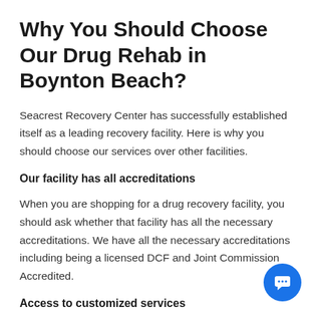Why You Should Choose Our Drug Rehab in Boynton Beach?
Seacrest Recovery Center has successfully established itself as a leading recovery facility. Here is why you should choose our services over other facilities.
Our facility has all accreditations
When you are shopping for a drug recovery facility, you should ask whether that facility has all the necessary accreditations. We have all the necessary accreditations including being a licensed DCF and Joint Commission Accredited.
Access to customized services
As a facility that has worked in the drug recovery sector for